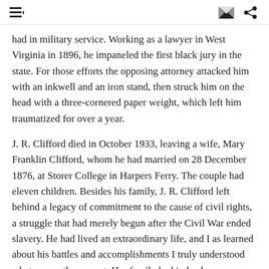[menu icon] [envelope icon] [share icon]
had in military service. Working as a lawyer in West Virginia in 1896, he impaneled the first black jury in the state. For those efforts the opposing attorney attacked him with an inkwell and an iron stand, then struck him on the head with a three-cornered paper weight, which left him traumatized for over a year.
J. R. Clifford died in October 1933, leaving a wife, Mary Franklin Clifford, whom he had married on 28 December 1876, at Storer College in Harpers Ferry. The couple had eleven children. Besides his family, J. R. Clifford left behind a legacy of commitment to the cause of civil rights, a struggle that had merely begun after the Civil War ended slavery. He had lived an extraordinary life, and I as learned about his battles and accomplishments I truly understood what my mother meant. Her family had indeed